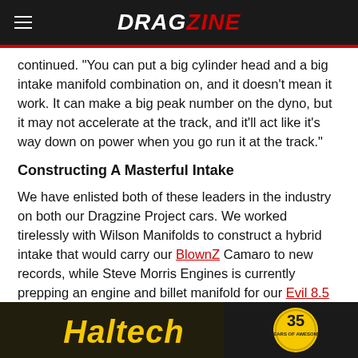DRAGZINE
continued. “You can put a big cylinder head and a big intake manifold combination on, and it doesn’t mean it work. It can make a big peak number on the dyno, but it may not accelerate at the track, and it’ll act like it’s way down on power when you go run it at the track.”
Constructing A Masterful Intake
We have enlisted both of these leaders in the industry on both our Dragzine Project cars. We worked tirelessly with Wilson Manifolds to construct a hybrid intake that would carry our BlownZ Camaro to new records, while Steve Morris Engines is currently prepping an engine and billet manifold for our Evil 8.5 Fox body Mustang project build.
[Figure (logo): Haltech logo banner with '35 Years of Awesome' badge on dark background]